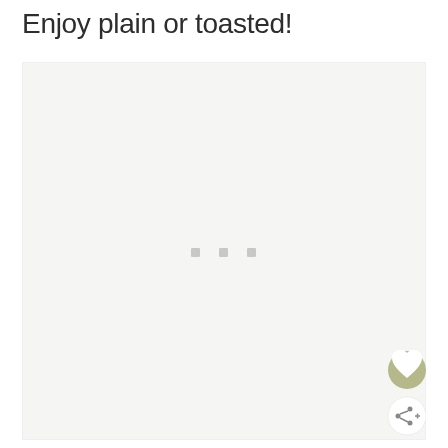Enjoy plain or toasted!
[Figure (photo): A large light grey placeholder image box with three small grey squares in the center indicating a loading state. A heart/favorite button (olive/tan colored circle) and a share button (white circle) are overlaid in the bottom-right corner.]